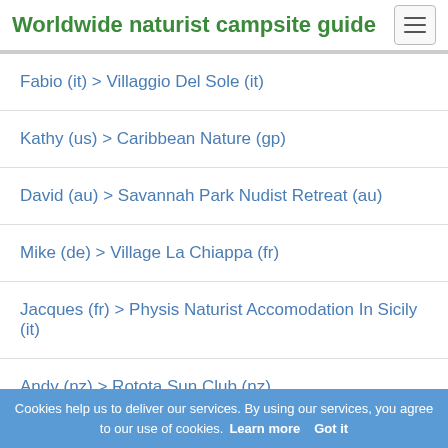Worldwide naturist campsite guide
Fabio (it) > Villaggio Del Sole (it)
Kathy (us) > Caribbean Nature (gp)
David (au) > Savannah Park Nudist Retreat (au)
Mike (de) > Village La Chiappa (fr)
Jacques (fr) > Physis Naturist Accomodation In Sicily (it)
Andy (nz) > Rotota Sun Club (nz)
About Naturist-Resort.com
Contact
Cookies help us to deliver our services. By using our services, you agree to our use of cookies. Learn more  Got it